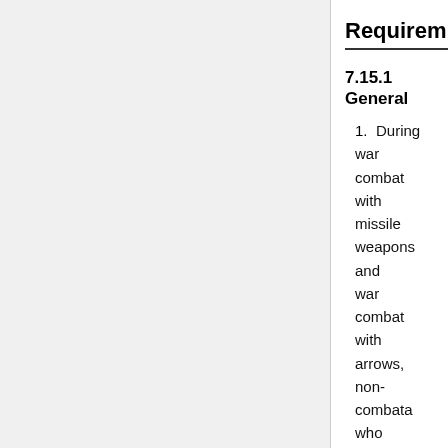Requirements
7.15.1 General
1. During war combat with missile weapons and war combat with arrows, non-combatants who remain on